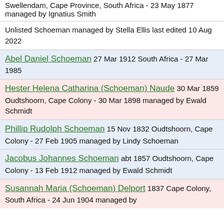Swellendam, Cape Province, South Africa - 23 May 1877 managed by Ignatius Smith
Unlisted Schoeman managed by Stella Ellis last edited 10 Aug 2022
Abel Daniel Schoeman 27 Mar 1912 South Africa - 27 Mar 1985
Hester Helena Catharina (Schoeman) Naude 30 Mar 1859 Oudtshoorn, Cape Colony - 30 Mar 1898 managed by Ewald Schmidt
Phillip Rudolph Schoeman 15 Nov 1832 Oudtshoorn, Cape Colony - 27 Feb 1905 managed by Lindy Schoeman
Jacobus Johannes Schoeman abt 1857 Oudtshoorn, Cape Colony - 13 Feb 1912 managed by Ewald Schmidt
Susannah Maria (Schoeman) Delport 1837 Cape Colony, South Africa - 24 Jun 1904 managed by